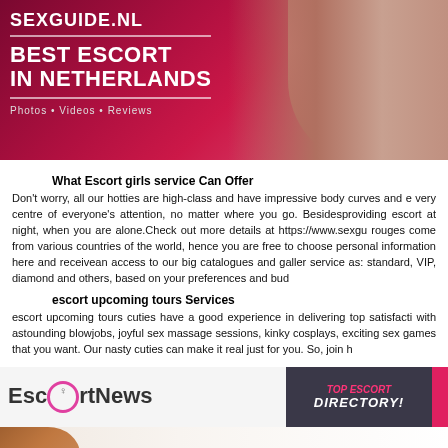[Figure (photo): Advertisement banner for sexguide.nl showing 'BEST ESCORT IN NETHERLANDS' with 'Photos • Videos • Reviews' tagline and image of woman in black bikini on pink/red background]
What Escort girls service Can Offer
Don't worry, all our hotties are high-class and have impressive body curves and are the very centre of everyone's attention, no matter where you go. Besidesproviding escort at night, when you are alone.Check out more details at https://www.sexgu... rouges come from various countries of the world, hence you are free to choose... personal information here and receivean access to our big catalogues and galler... service as: standard, VIP, diamond and others, based on your preferences and bud...
escort upcoming tours Services
escort upcoming tours cuties have a good experience in delivering top satisfacti... with astounding blowjobs, joyful sex massage sessions, kinky cosplays, exciting... sex games that you want. Our nasty cuties can make it real just for you. So, join h...
[Figure (photo): EscortNews advertisement banner with logo showing stylized female figure in circle, text reads 'TOP ESCORT DIRECTORY!']
[Figure (photo): Another advertisement banner showing woman with dark curly hair and heart logo]